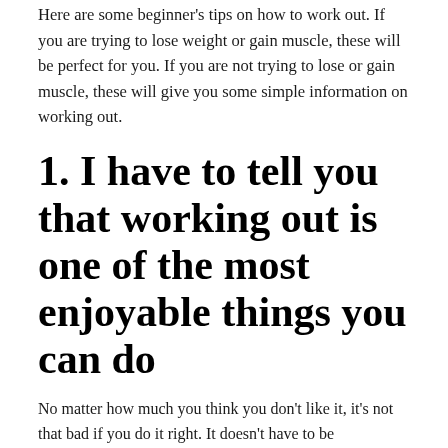Here are some beginner's tips on how to work out. If you are trying to lose weight or gain muscle, these will be perfect for you. If you are not trying to lose or gain muscle, these will give you some simple information on working out.
1. I have to tell you that working out is one of the most enjoyable things you can do
No matter how much you think you don't like it, it's not that bad if you do it right. It doesn't have to be complicated.
2. You don't have to use a gym, and you can easily